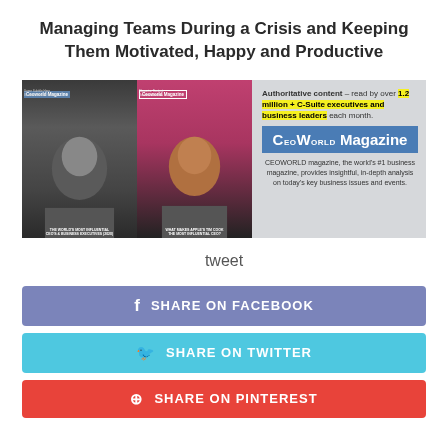Managing Teams During a Crisis and Keeping Them Motivated, Happy and Productive
[Figure (illustration): CEOWORLD Magazine advertisement banner featuring two magazine covers with photos of Elon Musk and Tim Cook, alongside text: 'Authoritative content – read by over 1.2 million + C-Suite executives and business leaders each month.' and the CEOWORLD Magazine logo and description.]
tweet
SHARE ON FACEBOOK
SHARE ON TWITTER
SHARE ON PINTEREST